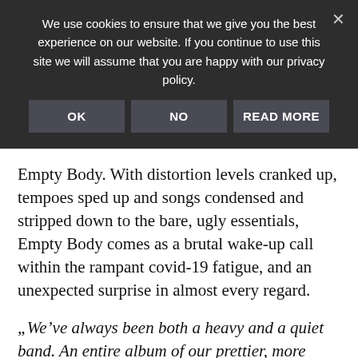We use cookies to ensure that we give you the best experience on our website. If you continue to use this site we will assume that you are happy with our privacy policy.
OK   NO   READ MORE
Empty Body. With distortion levels cranked up, tempoes sped up and songs condensed and stripped down to the bare, ugly essentials, Empty Body comes as a brutal wake-up call within the rampant covid-19 fatigue, and an unexpected surprise in almost every regard.
„We’ve always been both a heavy and a quiet band. An entire album of our prettier, more bittersweet inclinations demands a reply of our most aggressive and confrontational. The pendulum must swing back the other way”, comments multi-instrumentalist